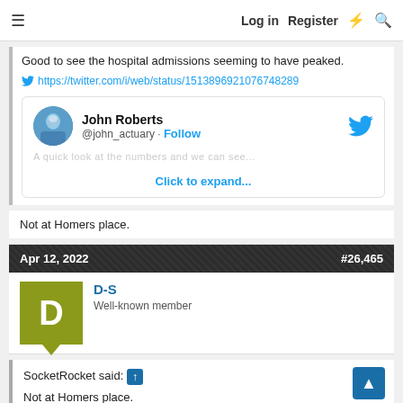Log in  Register
Good to see the hospital admissions seeming to have peaked.
https://twitter.com/i/web/status/1513896921076748289
[Figure (screenshot): Embedded tweet card from John Roberts @john_actuary with Follow button and Twitter bird icon. Shows 'Click to expand...' link.]
Not at Homers place.
Apr 12, 2022   #26,465
D-S
Well-known member
SocketRocket said: ↑
Not at Homers place.